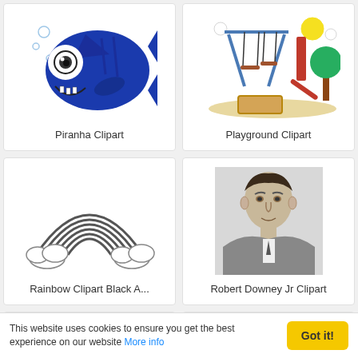[Figure (illustration): Cartoon blue piranha fish clipart]
Piranha Clipart
[Figure (illustration): Playground clipart with swings, slide, sandbox, tree, sun and clouds]
Playground Clipart
[Figure (illustration): Rainbow clipart black and white outline with clouds at base]
Rainbow Clipart Black A...
[Figure (photo): Black and white portrait photo of Robert Downey Jr in a suit]
Robert Downey Jr Clipart
[Figure (illustration): Partial view of alphabet letters O, D, and another letter in bold black]
[Figure (illustration): Partial view of a fish or dolphin clipart]
This website uses cookies to ensure you get the best experience on our website More info
Got it!